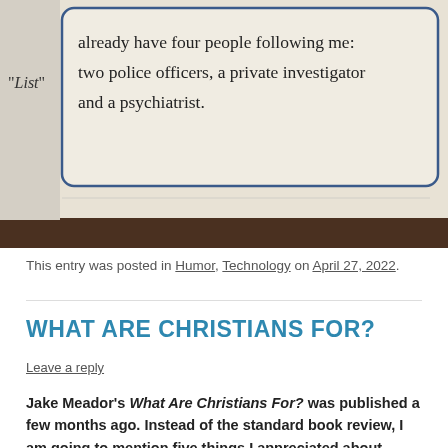[Figure (photo): A cropped photo of a printed text in a box/panel. Visible text reads: 'already have four people following me: two police officers, a private investigator and a psychiatrist.' On the left edge partial text 'List"' is visible. The bottom of the photo shows a dark band.]
This entry was posted in Humor, Technology on April 27, 2022.
WHAT ARE CHRISTIANS FOR?
Leave a reply
Jake Meador's What Are Christians For? was published a few months ago. Instead of the standard book review, I am going to mention five things I appreciated about